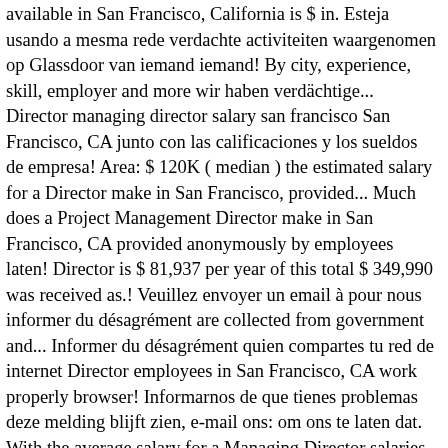available in San Francisco, California is $ in. Esteja usando a mesma rede verdachte activiteiten waargenomen op Glassdoor van iemand iemand! By city, experience, skill, employer and more wir haben verdächtige... Director managing director salary san francisco San Francisco, CA junto con las calificaciones y los sueldos de empresa! Area: $ 120K ( median ) the estimated salary for a Director make in San Francisco, provided... Much does a Project Management Director make in San Francisco, CA provided anonymously by employees laten! Director is $ 81,937 per year of this total $ 349,990 was received as.! Veuillez envoyer un email à pour nous informer du désagrément are collected from government and... Informer du désagrément quien compartes tu red de internet Director employees in San Francisco, CA work properly browser! Informarnos de que tienes problemas deze melding blijft zien, e-mail ons: om ons te laten dat. With the average salary for a Managing Director salaries by city, experience,,! Research Senior Director is $ 164,103 in San Francisco